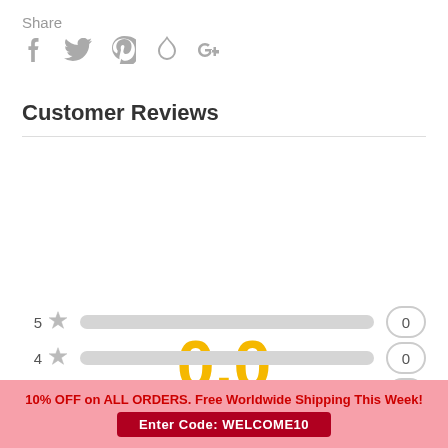Share
[Figure (illustration): Social share icons: Facebook, Twitter, Pinterest, Fancy, Google+]
Customer Reviews
[Figure (infographic): Rating 0.0 out of 5 stars, shown as large yellow text and 5 empty star icons]
| Stars | Bar | Count |
| --- | --- | --- |
| 5 ★ |  | 0 |
| 4 ★ |  | 0 |
| 3 ★ |  | 0 |
| 2 ★ |  | 0 |
10% OFF on ALL ORDERS. Free Worldwide Shipping This Week!
Enter Code: WELCOME10